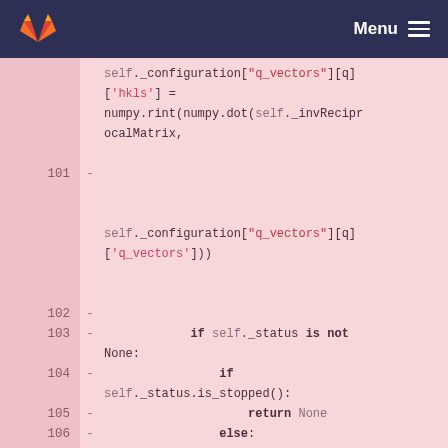GitLab · Menu
[Figure (screenshot): Code diff view showing Python source lines 101-109 with removed lines (marked with -). Lines include self._configuration["q_vectors"][q]['hkls'] = numpy.rint(numpy.dot(self._invReciprocalMatrix, ..., self._configuration["q_vectors"][q]['q_vectors'])), followed by if self._status is not None:, if self._status.is_stopped():, return None, else:, self._status.update(), and REGISTRY["spherical_lattice"] =]